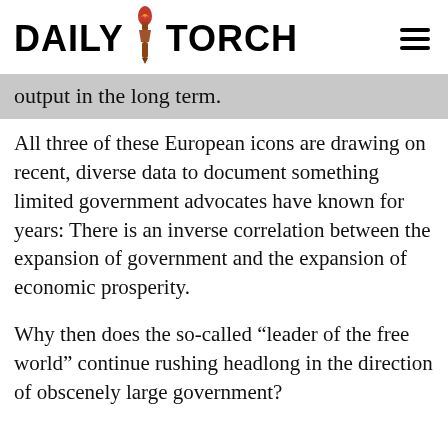DAILY TORCH
output in the long term.
All three of these European icons are drawing on recent, diverse data to document something limited government advocates have known for years: There is an inverse correlation between the expansion of government and the expansion of economic prosperity.
Why then does the so-called “leader of the free world” continue rushing headlong in the direction of obscenely large government?